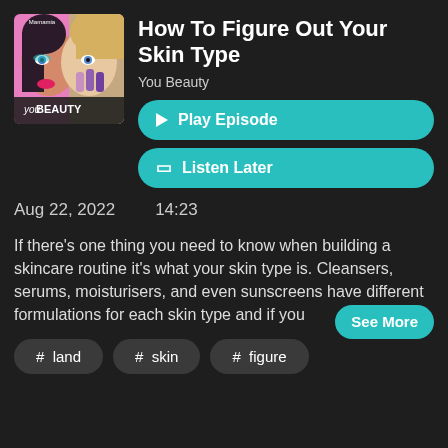[Figure (illustration): You Beauty podcast cover art showing a woman's face split into multiple beauty/makeup styles with pink background and 'you BEAUTY' text at bottom]
How To Figure Out Your Skin Type
You Beauty
▶ Play Episode
☐ Listen Later
Aug 22, 2022   14:23
If there's one thing you need to know when building a skincare routine it's what your skin type is. Cleansers, serums, moisturisers, and even sunscreens have different formulations for each skin type and if you
See More
# land
# skin
# figure